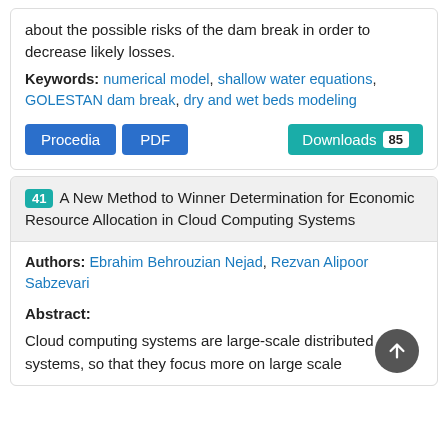about the possible risks of the dam break in order to decrease likely losses.
Keywords: numerical model, shallow water equations, GOLESTAN dam break, dry and wet beds modeling
Procedia  PDF  Downloads 85
41 A New Method to Winner Determination for Economic Resource Allocation in Cloud Computing Systems
Authors: Ebrahim Behrouzian Nejad, Rezvan Alipoor Sabzevari
Abstract:
Cloud computing systems are large-scale distributed systems, so that they focus more on large scale